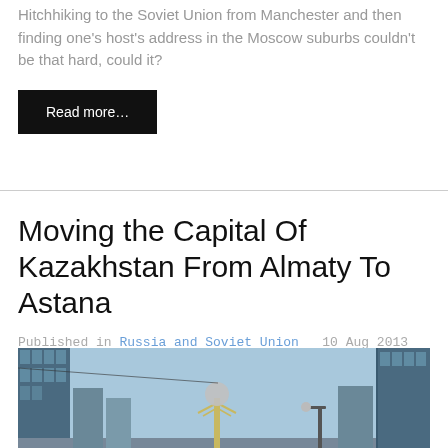Hitchhiking to the Soviet Union from Manchester and then finding one's host's address in the Moscow suburbs couldn't be that hard, could it?
Read more…
Moving the Capital Of Kazakhstan From Almaty To Astana
Published in Russia and Soviet Union   10 Aug 2013
[Figure (photo): Street-level photo of Astana, Kazakhstan showing modern glass skyscrapers, the Baiterek tower monument, and light poles under a blue sky]